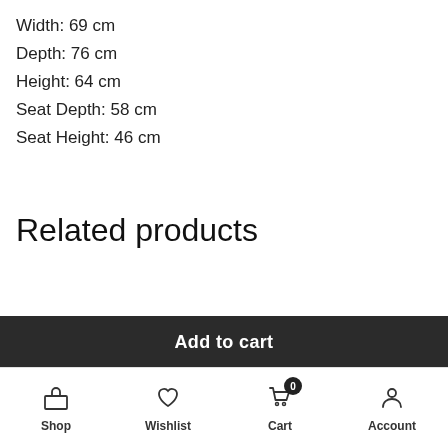Width:  69 cm
Depth: 76 cm
Height: 64 cm
Seat Depth: 58 cm
Seat Height: 46 cm
Related products
Add to cart | Shop | Wishlist | Cart (0) | Account